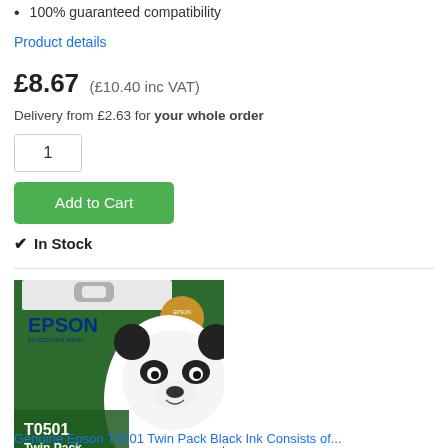100% guaranteed compatibility
Product details
£8.67 (£10.40 inc VAT)
Delivery from £2.63 for your whole order
1
Add to Cart
✔ In Stock
[Figure (photo): Epson T0501 Twin Pack Black ink cartridge product box featuring a panda bear image on the packaging]
Genuine Epson T0501 Twin Pack Black Ink Consists of...